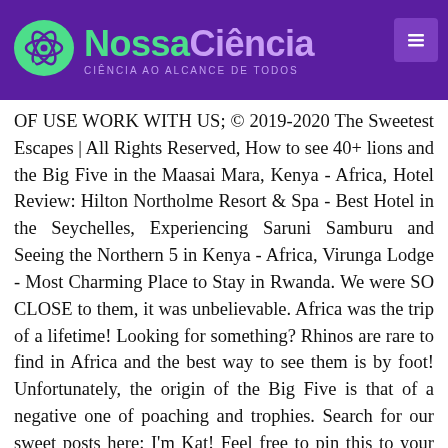[Figure (logo): NossaCiência logo with green atom icon on purple background, tagline CIÊNCIA AO ALCANCE DE TODOS]
OF USE WORK WITH US; © 2019-2020 The Sweetest Escapes | All Rights Reserved, How to see 40+ lions and the Big Five in the Maasai Mara, Kenya - Africa, Hotel Review: Hilton Northolme Resort & Spa - Best Hotel in the Seychelles, Experiencing Saruni Samburu and Seeing the Northern 5 in Kenya - Africa, Virunga Lodge - Most Charming Place to Stay in Rwanda. We were SO CLOSE to them, it was unbelievable. Africa was the trip of a lifetime! Looking for something? Rhinos are rare to find in Africa and the best way to see them is by foot! Unfortunately, the origin of the Big Five is that of a negative one of poaching and trophies. Search for our sweet posts here: I'm Kat! Feel free to pin this to your favorite Pinterest board: The Seychelles was one of the most relaxing and beautiful islands we've ever been to! Benjamin and David greeted us at the airport as soon as we landed on the dirt airstrip and were with us on every